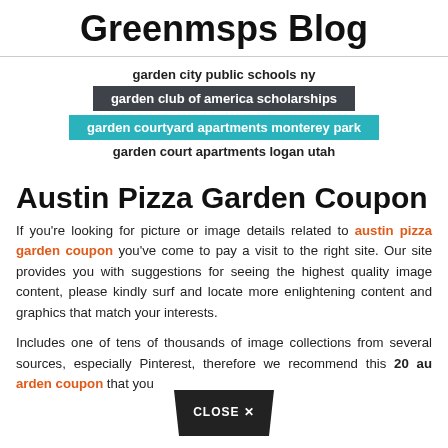Greenmsps Blog
garden city public schools ny
garden club of america scholarships
garden courtyard apartments monterey park
garden court apartments logan utah
Austin Pizza Garden Coupon
If you're looking for picture or image details related to austin pizza garden coupon you've come to pay a visit to the right site. Our site provides you with suggestions for seeing the highest quality image content, please kindly surf and locate more enlightening content and graphics that match your interests.
Includes one of tens of thousands of image collections from several sources, especially Pinterest, therefore we recommend this 20 au... arden coupon that you ...